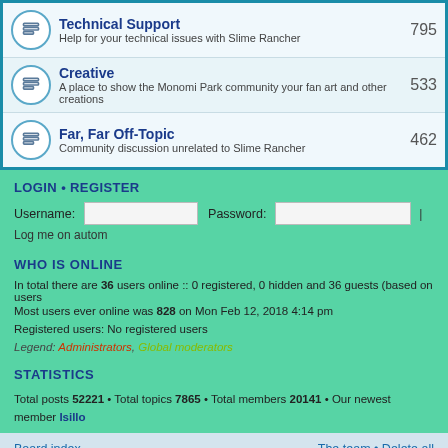| Forum | Posts |
| --- | --- |
| Technical Support – Help for your technical issues with Slime Rancher | 795 |
| Creative – A place to show the Monomi Park community your fan art and other creations | 533 |
| Far, Far Off-Topic – Community discussion unrelated to Slime Rancher | 462 |
LOGIN • REGISTER
Username: [input] Password: [input] | Log me on autom...
WHO IS ONLINE
In total there are 36 users online :: 0 registered, 0 hidden and 36 guests (based on users...)
Most users ever online was 828 on Mon Feb 12, 2018 4:14 pm
Registered users: No registered users
Legend: Administrators, Global moderators
STATISTICS
Total posts 52221 • Total topics 7865 • Total members 20141 • Our newest member Isillo...
Board index   The team • Delete all...   Powered by phpBB® Forum Software © phpBB Gr...